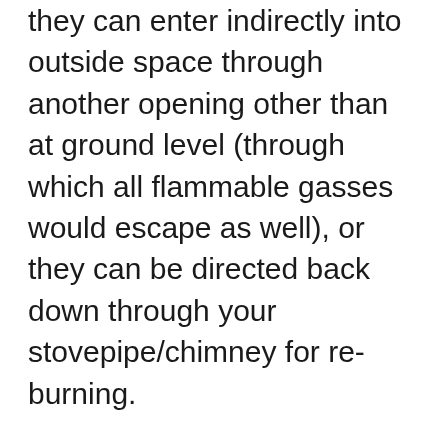they can enter indirectly into outside space through another opening other than at ground level (through which all flammable gasses would escape as well), or they can be directed back down through your stovepipe/chimney for re-burning.
Baffles are also designed to separate the heat and smoke coming from a burning fire so that it does not travel directly up into your home, which could open you up to potential carbon monoxide poisoning if the air currents were forced in such a way as to bring too much of these flammable gasses into close contact with an ignition source (such as your stovepipe/chimney).